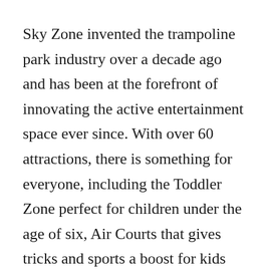Sky Zone invented the trampoline park industry over a decade ago and has been at the forefront of innovating the active entertainment space ever since. With over 60 attractions, there is something for everyone, including the Toddler Zone perfect for children under the age of six, Air Courts that gives tricks and sports a boost for kids and teens, and thrilling Slick Slides exclusive to Sky Zone that offer an exhilarating free-fall along with a social media-worthy landing. In addition to monthly memberships, Sky Zone offers birthday parties,